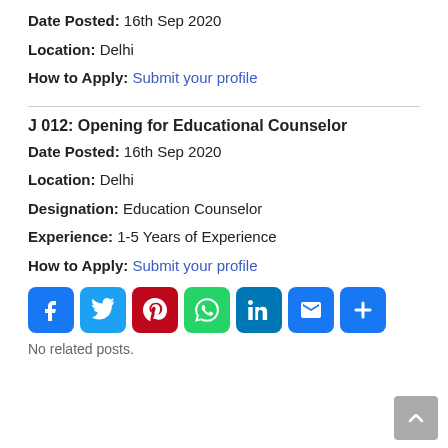Date Posted: 16th Sep 2020
Location: Delhi
How to Apply: Submit your profile
J 012: Opening for Educational Counselor
Date Posted: 16th Sep 2020
Location: Delhi
Designation: Education Counselor
Experience: 1-5 Years of Experience
How to Apply: Submit your profile
[Figure (infographic): Social share icons: Facebook, Twitter, Pinterest, WhatsApp, LinkedIn, Email, Share]
No related posts.